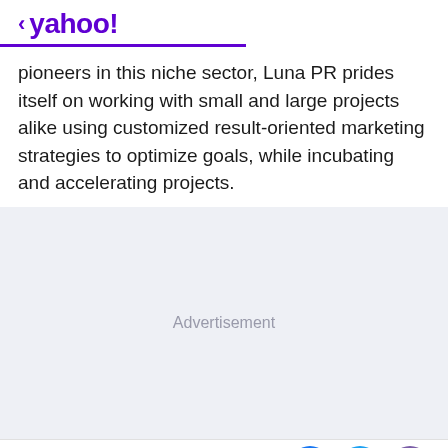< yahoo!
pioneers in this niche sector, Luna PR prides itself on working with small and large projects alike using customized result-oriented marketing strategies to optimize goals, while incubating and accelerating projects.
Advertisement
View comments